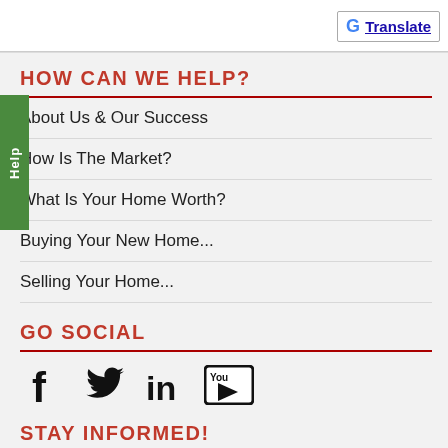Translate
HOW CAN WE HELP?
About Us & Our Success
How Is The Market?
What Is Your Home Worth?
Buying Your New Home...
Selling Your Home...
GO SOCIAL
[Figure (logo): Social media icons: Facebook, Twitter, LinkedIn, YouTube]
STAY INFORMED!